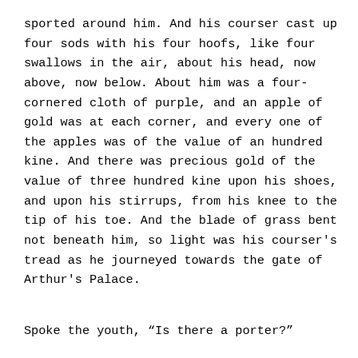sported around him. And his courser cast up four sods with his four hoofs, like four swallows in the air, about his head, now above, now below. About him was a four-cornered cloth of purple, and an apple of gold was at each corner, and every one of the apples was of the value of an hundred kine. And there was precious gold of the value of three hundred kine upon his shoes, and upon his stirrups, from his knee to the tip of his toe. And the blade of grass bent not beneath him, so light was his courser's tread as he journeyed towards the gate of Arthur's Palace.
Spoke the youth, “Is there a porter?”